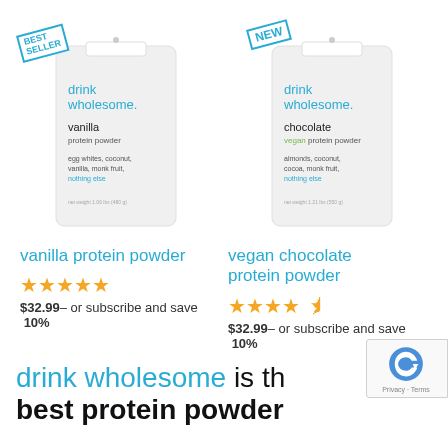[Figure (photo): Two protein powder bags side by side. Left bag has 'BEST SELLER' badge, 'drink wholesome.' branding, 'vanilla protein powder', ingredients: egg whites, coconut, vanilla, monk fruit, nothing else. Right bag has 'NEW' badge, 'drink wholesome.' branding, 'chocolate vegan protein powder', ingredients: almonds, coconut, cocoa, monk fruit, nothing else.]
vanilla protein powder
★★★★★ $32.99– or subscribe and save 10%
vegan chocolate protein powder
★★★★½ $32.99– or subscribe and save 10%
drink wholesome is th
best protein powder